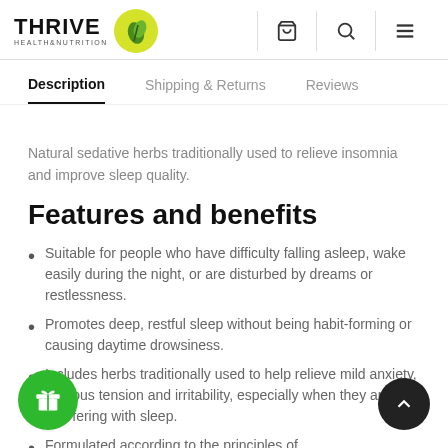THRIVE HEALTH&NUTRITION
Description | Shipping & Returns | Reviews
Natural sedative herbs traditionally used to relieve insomnia and improve sleep quality.
Features and benefits
Suitable for people who have difficulty falling asleep, wake easily during the night, or are disturbed by dreams or restlessness.
Promotes deep, restful sleep without being habit-forming or causing daytime drowsiness.
Includes herbs traditionally used to help relieve mild anxiety, nervous tension and irritability, especially when they are interfering with sleep.
Formulated according to the principles of